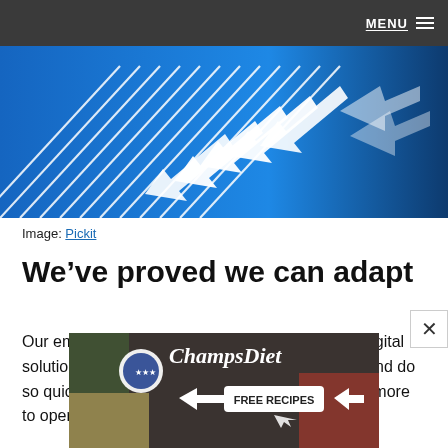MENU
[Figure (illustration): Blue background with white diagonal lines and white arrow shapes pointing upward-right, suggesting motion and direction.]
Image: Pickit
We’ve proved we can adapt
Our embrace of technology, home working, and digital solutions has demonstrated that we can adapt – and do so quickly when we need to. Lockdown has done more to open our minds to
[Figure (photo): Advertisement banner for ChampsDiet showing food items (bread, tomatoes, herbs, pasta) on a dark surface with logo and FREE RECIPES button.]